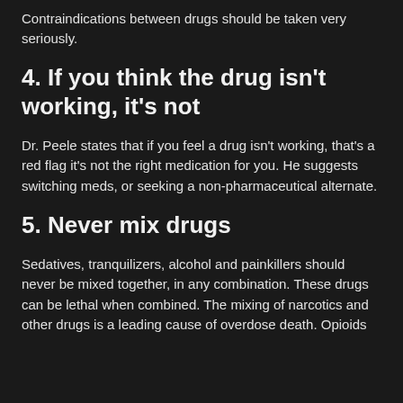Contraindications between drugs should be taken very seriously.
4. If you think the drug isn't working, it's not
Dr. Peele states that if you feel a drug isn't working, that's a red flag it's not the right medication for you. He suggests switching meds, or seeking a non-pharmaceutical alternate.
5. Never mix drugs
Sedatives, tranquilizers, alcohol and painkillers should never be mixed together, in any combination. These drugs can be lethal when combined. The mixing of narcotics and other drugs is a leading cause of overdose death. Opioids